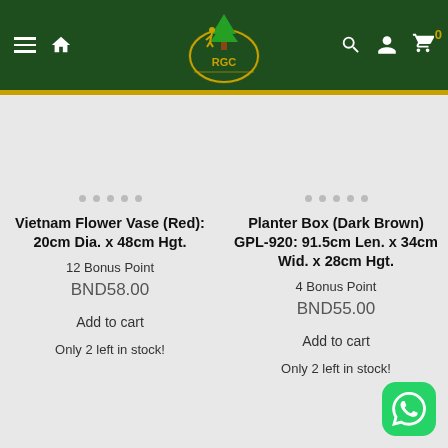[Figure (logo): RGC website navigation bar with hamburger menu, home icon, RGC logo (golfer with tree), search icon, user icon, and cart icon with 0 badge]
Vietnam Flower Vase (Red): 20cm Dia. x 48cm Hgt.
12 Bonus Point
BND58.00
Add to cart
Only 2 left in stock!
Planter Box (Dark Brown) GPL-920: 91.5cm Len. x 34cm Wid. x 28cm Hgt.
4 Bonus Point
BND55.00
Add to cart
Only 2 left in stock!